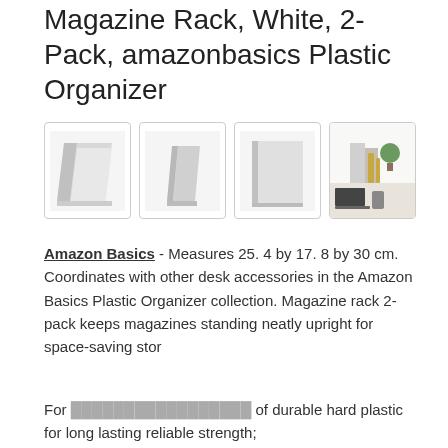Magazine Rack, White, 2-Pack, amazonbasics Plastic Organizer
[Figure (photo): Four product images of white magazine racks; first three show product alone, fourth shows desk scene with organizers.]
Amazon Basics - Measures 25. 4 by 17. 8 by 30 cm. Coordinates with other desk accessories in the Amazon Basics Plastic Organizer collection. Magazine rack 2-pack keeps magazines standing neatly upright for space-saving stor
As an Amazon Associate I earn from qualifying purchases. This website uses the only necessary cookies to ensure you get the best experience on our website. More information
For of durable hard plastic for long lasting reliable strength;